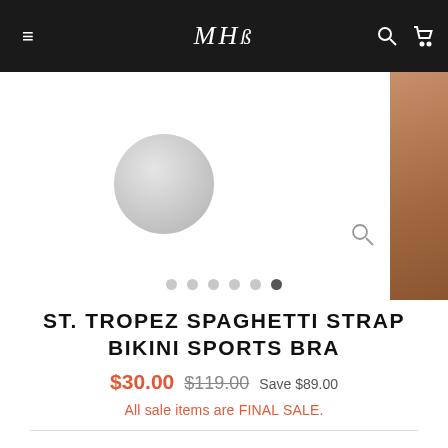MHB navigation bar with hamburger menu, logo, search and cart icons
[Figure (screenshot): Product image area showing a gray circular shape on white background with tan/skin-toned image on the right edge, with a magnifying glass icon and carousel dots below]
ST. TROPEZ SPAGHETTI STRAP BIKINI SPORTS BRA
$30.00  $119.00  Save $89.00
All sale items are FINAL SALE.
COLOR — WhiteGoldStripe
[Figure (illustration): Two color swatch circles: dark brown/black striped circle and white circle with gray border]
SIZE